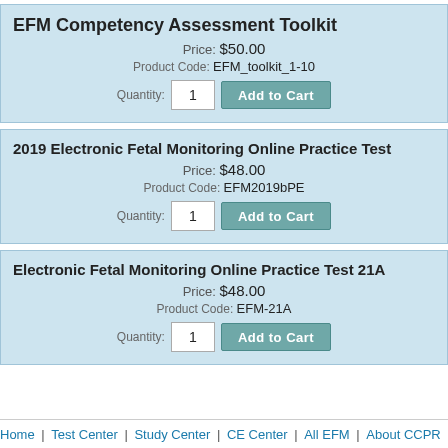EFM Competency Assessment Toolkit
Price: $50.00
Product Code: EFM_toolkit_1-10
Quantity: 1  Add to Cart
2019 Electronic Fetal Monitoring Online Practice Test
Price: $48.00
Product Code: EFM2019bPE
Quantity: 1  Add to Cart
Electronic Fetal Monitoring Online Practice Test 21A
Price: $48.00
Product Code: EFM-21A
Quantity: 1  Add to Cart
Home | Test Center | Study Center | CE Center | All EFM | About CCPR | Contact Us